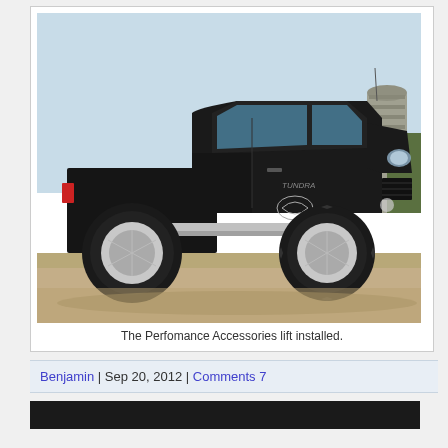[Figure (photo): A black lifted Toyota Tundra pickup truck with large off-road tires, chrome running boards, and a custom logo on the door, parked on dry grassland with a grain silo visible in the background.]
The Perfomance Accessories lift installed.
Benjamin | Sep 20, 2012 | Comments 7